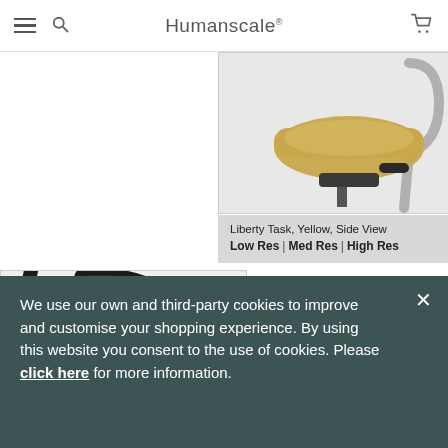Humanscale
[Figure (photo): Liberty Task chair side view, yellow upholstery with chrome frame, cropped view showing seat and backrest]
Liberty Task, Yellow, Side View
Low Res | Med Res | High Res
[Figure (photo): Liberty Task chair side view, blue seat with black mesh back and black frame, cropped close-up]
We use our own and third-party cookies to improve and customise your shopping experience. By using this website you consent to the use of cookies. Please click here for more information.